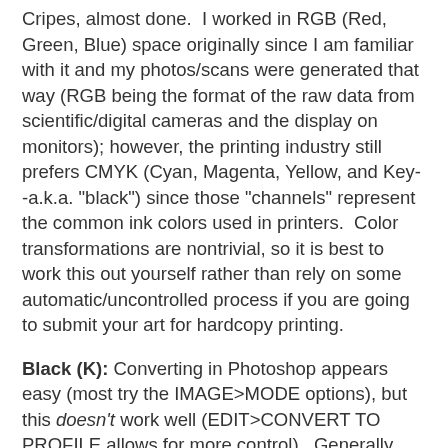Cripes, almost done.  I worked in RGB (Red, Green, Blue) space originally since I am familiar with it and my photos/scans were generated that way (RGB being the format of the raw data from scientific/digital cameras and the display on monitors); however, the printing industry still prefers CMYK (Cyan, Magenta, Yellow, and Key--a.k.a. "black") since those "channels" represent the common ink colors used in printers.  Color transformations are nontrivial, so it is best to work this out yourself rather than rely on some automatic/uncontrolled process if you are going to submit your art for hardcopy printing.
Black (K): Converting in Photoshop appears easy (most try the IMAGE>MODE options), but this doesn't work well (EDIT>CONVERT TO PROFILE allows for more control).  Generally, the RGB colors are converted to CMY_ alright, but the K channel is neglected.  Blacks turn to grays, and the general intensity of the image becomes muted.  To correct this, a program like Illustrator or InDesign is needed (geared toward making actual prints).  I used illustrator to EXPORT my file into a new *.PSD after I had changed the PREFERENCES>APPEARANCE OF BLACK to export